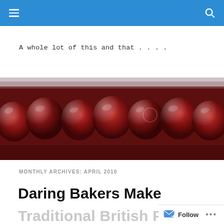Navigation header bar with hamburger menu and search icon
A whole lot of this and that . . . .
[Figure (photo): Close-up photograph of glossy dark red cherries or berries in a jam or pie filling, spanning the full width of the page.]
MONTHLY ARCHIVES: APRIL 2010
Daring Bakers Make
Traditional British Pud...
Follow ...